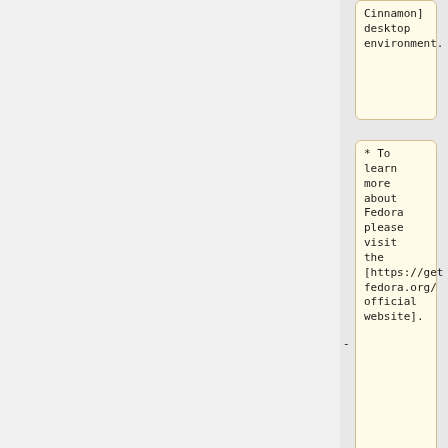Cinnamon] desktop environment.
* To learn more about Fedora please visit the [https://getfedora.org/ official website].
* DD image (for 12GB microSD card / eMMC module and above)
** [https://builds.armdevel